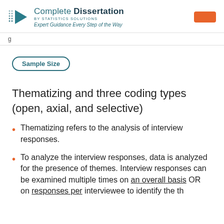Complete Dissertation BY STATISTICS SOLUTIONS Expert Guidance Every Step of the Way
Sample Size
Thematizing and three coding types (open, axial, and selective)
Thematizing refers to the analysis of interview responses.
To analyze the interview responses, data is analyzed for the presence of themes. Interview responses can be examined multiple times on an overall basis OR on responses per interviewee to identify the th...